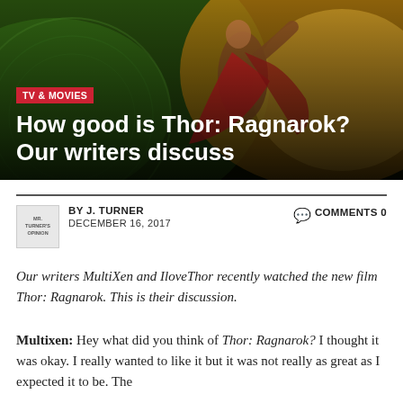[Figure (photo): Hero image of Thor from Thor: Ragnarok movie, showing the character with red cape against a green and yellow glowing background]
TV & MOVIES
How good is Thor: Ragnarok? Our writers discuss
BY J. TURNER   DECEMBER 16, 2017   COMMENTS 0
Our writers MultiXen and IloveThor recently watched the new film Thor: Ragnarok. This is their discussion.
Multixen: Hey what did you think of Thor: Ragnarok? I thought it was okay. I really wanted to like it but it was not really as great as I expected it to be. The